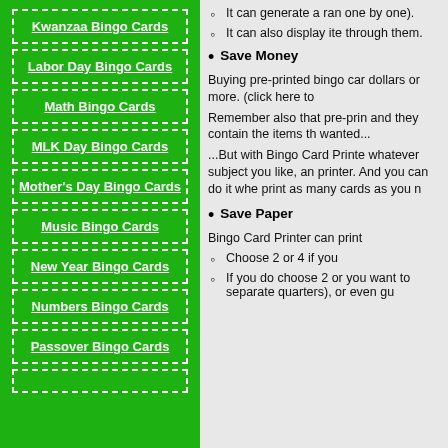Kwanzaa Bingo Cards
Labor Day Bingo Cards
Math Bingo Cards
MLK Day Bingo Cards
Mother's Day Bingo Cards
Music Bingo Cards
New Year Bingo Cards
Numbers Bingo Cards
Passover Bingo Cards
It can generate a ran one by one).
It can also display ite through them.
Save Money
Buying pre-printed bingo car dollars or more. (click here to
Remember also that pre-prin and they contain the items th wanted...
...But with Bingo Card Printe whatever subject you like, an printer. And you can do it whe print as many cards as you n
Save Paper
Bingo Card Printer can print
Choose 2 or 4 if you
If you do choose 2 or you want to separate quarters), or even gu